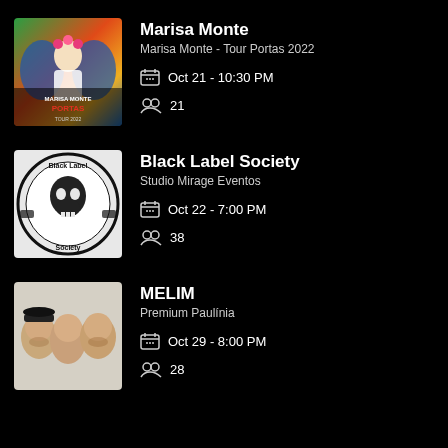[Figure (photo): Marisa Monte Tour Portas 2022 album artwork - colorful illustration of woman with flower crown]
Marisa Monte
Marisa Monte - Tour Portas 2022
Oct 21 - 10:30 PM
21
[Figure (logo): Black Label Society skull logo on light background]
Black Label Society
Studio Mirage Eventos
Oct 22 - 7:00 PM
38
[Figure (photo): MELIM - three people (band members) on light background]
MELIM
Premium Paulínia
Oct 29 - 8:00 PM
28